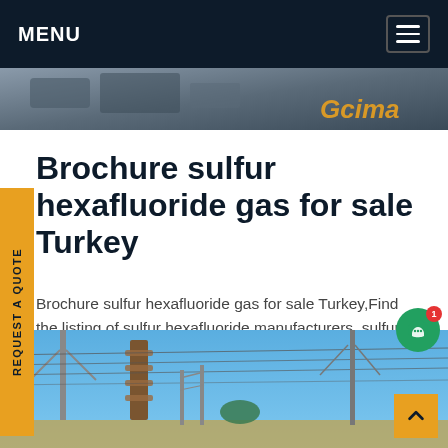MENU
[Figure (photo): Partial view of industrial or electrical equipment, with orange text overlay (website logo/name)]
Brochure sulfur hexafluoride gas for sale Turkey
Brochure sulfur hexafluoride gas for sale Turkey,Find the listing of sulfur hexafluoride manufacturers, sulfur hexafluoride suppliers, dealers exporters offering sulfur hexafluoride at best price. Get wide range of sulfur hexafluoride offered by listed companies in India.Get price
[Figure (photo): Electrical substation with power lines, insulators, and equipment against a blue sky]